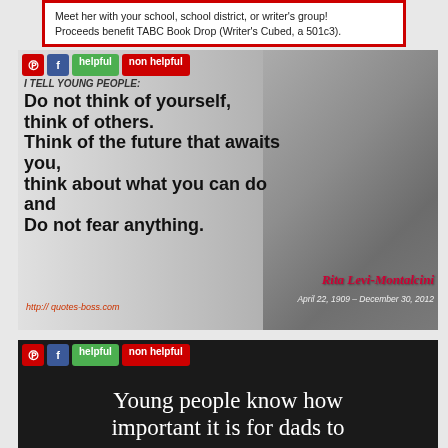Meet her with your school, school district, or writer's group! Proceeds benefit TABC Book Drop (Writer's Cubed, a 501c3).
[Figure (photo): Quote image with black and white portrait of Rita Levi-Montalcini with bold text quote: 'I TELL YOUNG PEOPLE: Do not think of yourself, think of others. Think of the future that awaits you, think about what you can do and do not fear anything.' Attribution: Rita Levi-Montalcini, April 22, 1909 - December 30, 2012. URL: http://quotes-boss.com]
[Figure (screenshot): Dark background card with social sharing buttons (Pinterest, Facebook, helpful, non helpful) and beginning of quote: 'Young people know how important it is for dads to']